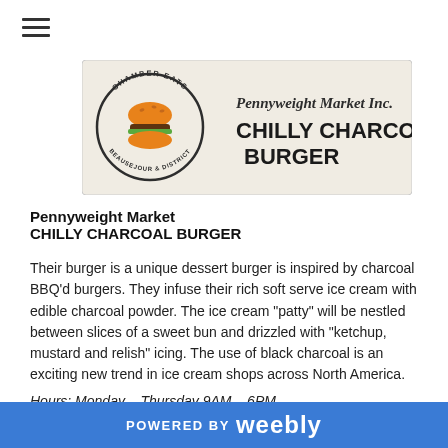[Figure (logo): Chamber Eats Beausejour & District circular logo with burger icon on left, and Pennyweight Market Inc. CHILLY CHARCOAL BURGER text on right, on a light beige background]
Pennyweight Market
CHILLY CHARCOAL BURGER
Their burger is a unique dessert burger is inspired by charcoal BBQ'd burgers. They infuse their rich soft serve ice cream with edible charcoal powder. The ice cream "patty" will be nestled between slices of a sweet bun and drizzled with "ketchup, mustard and relish" icing. The use of black charcoal is an exciting new trend in ice cream shops across North America.
Hours: Monday – Thursday 9AM – 6PM
POWERED BY weebly